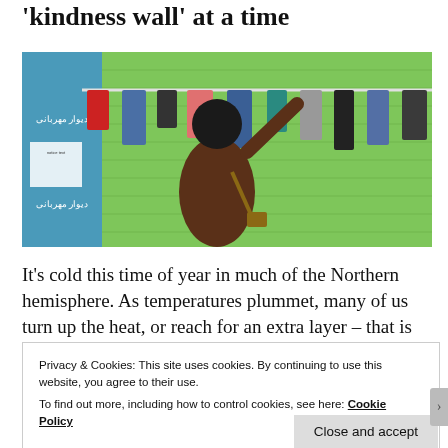'kindness wall' at a time
[Figure (photo): A person in a brown jacket reaching up to hang clothes on a green brick wall lined with clothing items on hangers. Text in Persian script visible on a blue door on the left. This is a 'kindness wall' where people can donate and take clothing.]
It's cold this time of year in much of the Northern hemisphere. As temperatures plummet, many of us turn up the heat, or reach for an extra layer – that is
Privacy & Cookies: This site uses cookies. By continuing to use this website, you agree to their use.
To find out more, including how to control cookies, see here: Cookie Policy
Close and accept